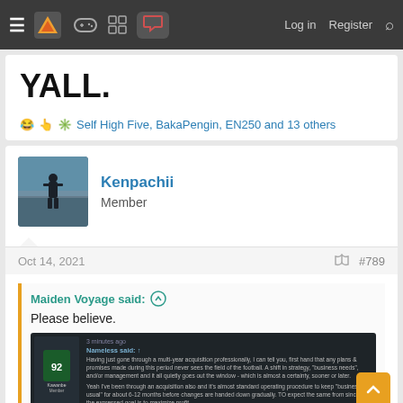Navigation bar with hamburger menu, logo, game controller icon, grid icon, chat icon (active), Log in, Register, Search
YALL.
😂 👆 💥 Self High Five, BakaPengin, EN250 and 13 others
Kenpachii
Member
Oct 14, 2021   #789
Maiden Voyage said: ↑

Please believe.